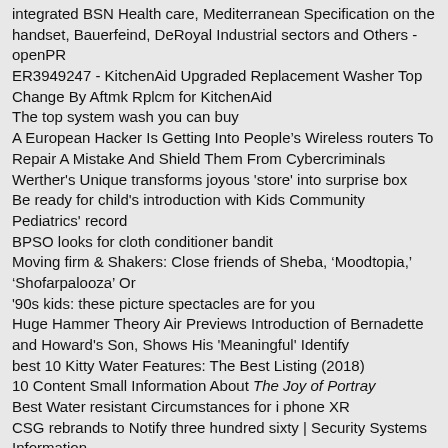integrated BSN Health care, Mediterranean Specification on the handset, Bauerfeind, DeRoyal Industrial sectors and Others - openPR
ER3949247 - KitchenAid Upgraded Replacement Washer Top Change By Aftmk Rplcm for KitchenAid
The top system wash you can buy
A European Hacker Is Getting Into People’s Wireless routers To Repair A Mistake And Shield Them From Cybercriminals
Werther's Unique transforms joyous 'store' into surprise box
Be ready for child's introduction with Kids Community Pediatrics' record
BPSO looks for cloth conditioner bandit
Moving firm & Shakers: Close friends of Sheba, ‘Moodtopia,’ ‘Shofarpalooza’ Or
'90s kids: these picture spectacles are for you
Huge Hammer Theory Air Previews Introduction of Bernadette and Howard's Son, Shows His 'Meaningful' Identify
best 10 Kitty Water Features: The Best Listing (2018)
10 Content Small Information About The Joy of Portray
Best Water resistant Circumstances for i phone XR
CSG rebrands to Notify three hundred sixty | Security Systems Information
'GMA Day' Bargains and Steals on must-have goods for your house
Exam finds rustic motorized wheel chair, filthy tools in The big apple